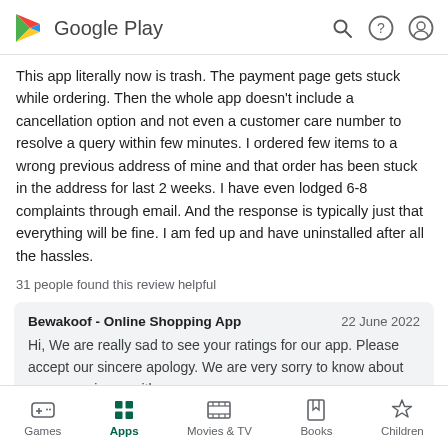Google Play
This app literally now is trash. The payment page gets stuck while ordering. Then the whole app doesn't include a cancellation option and not even a customer care number to resolve a query within few minutes. I ordered few items to a wrong previous address of mine and that order has been stuck in the address for last 2 weeks. I have even lodged 6-8 complaints through email. And the response is typically just that everything will be fine. I am fed up and have uninstalled after all the hassles.
31 people found this review helpful
Bewakoof - Online Shopping App  22 June 2022
Hi, We are really sad to see your ratings for our app. Please accept our sincere apology. We are very sorry to know about your experience with us.
Games  Apps  Movies & TV  Books  Children